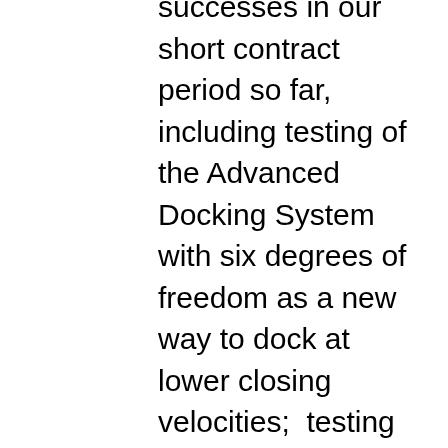successes in our short contract period so far, including testing of the Advanced Docking System with six degrees of freedom as a new way to dock at lower closing velocities;  testing the first Automated Landing and Hazard Avoidance Technology (ALHAT) “closed-loop” free flight test for Morpheus;  completing acceptance testing and delivery of the ISS Simplified Aid for Extravehicular Activity (EVA) Rescue (SAFER) flight unit for